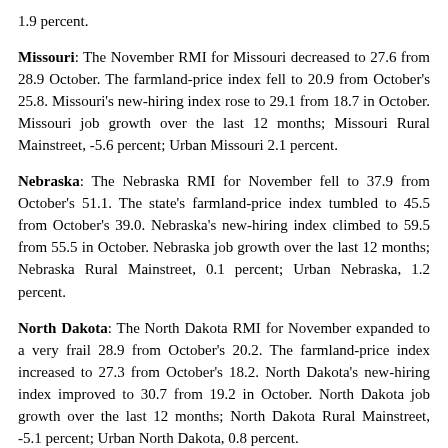1.9 percent.
Missouri: The November RMI for Missouri decreased to 27.6 from 28.9 October. The farmland-price index fell to 20.9 from October's 25.8. Missouri's new-hiring index rose to 29.1 from 18.7 in October. Missouri job growth over the last 12 months; Missouri Rural Mainstreet, -5.6 percent; Urban Missouri 2.1 percent.
Nebraska: The Nebraska RMI for November fell to 37.9 from October's 51.1. The state's farmland-price index tumbled to 45.5 from October's 39.0. Nebraska's new-hiring index climbed to 59.5 from 55.5 in October. Nebraska job growth over the last 12 months; Nebraska Rural Mainstreet, 0.1 percent; Urban Nebraska, 1.2 percent.
North Dakota: The North Dakota RMI for November expanded to a very frail 28.9 from October's 20.2. The farmland-price index increased to 27.3 from October's 18.2. North Dakota's new-hiring index improved to 30.7 from 19.2 in October. North Dakota job growth over the last 12 months; North Dakota Rural Mainstreet, -5.1 percent; Urban North Dakota, 0.8 percent.
South Dakota: The November RMI for South Dakota fell to 47.1 from...